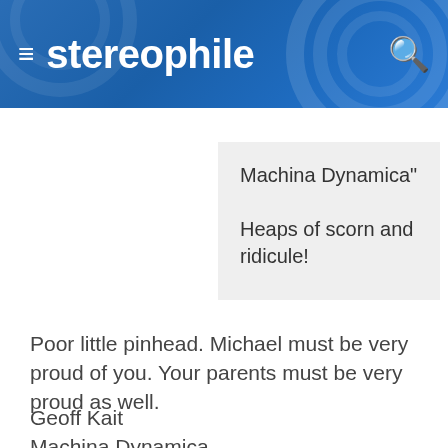stereophile
Machina Dynamica"

Heaps of scorn and ridicule!
Poor little pinhead. Michael must be very proud of you. Your parents must be very proud as well.
Geoff Kait
Machina Dynamica